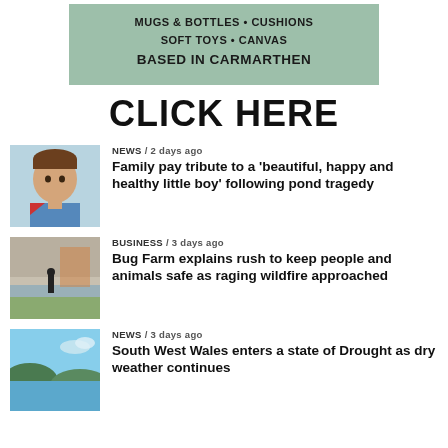[Figure (other): Advertisement banner with green background: MUGS & BOTTLES • CUSHIONS SOFT TOYS • CANVAS BASED IN CARMARTHEN]
CLICK HERE
NEWS / 2 days ago
Family pay tribute to a 'beautiful, happy and healthy little boy' following pond tragedy
BUSINESS / 3 days ago
Bug Farm explains rush to keep people and animals safe as raging wildfire approached
NEWS / 3 days ago
South West Wales enters a state of Drought as dry weather continues